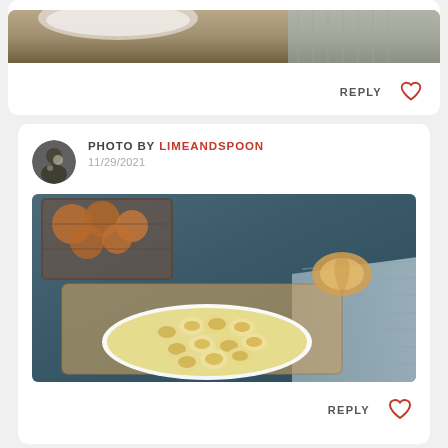[Figure (photo): Top cropped food photo showing a wooden cutting board with a white bowl/plate, blue-grey striped cloth in background]
REPLY
[Figure (photo): User avatar showing a person with a dog]
PHOTO BY LIMEANDSPOON
11/29/2021
[Figure (photo): Food photo showing rolled tortilla/crepe rolls on a yellow-rimmed white plate on a wooden cutting board, with onions in a wire basket in the background and a blue striped cloth]
REPLY